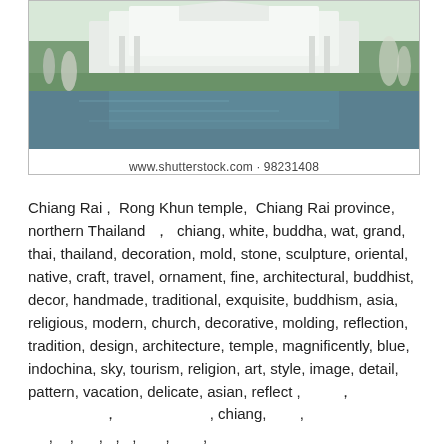[Figure (photo): White temple (Rong Khun / Wat Rong Khun) in Chiang Rai province, northern Thailand, with water reflection and green lawns]
www.shutterstock.com · 98231408
Chiang Rai , Rong Khun temple, Chiang Rai province, northern Thailand ， chiang, white, buddha, wat, grand, thai, thailand, decoration, mold, stone, sculpture, oriental, native, craft, travel, ornament, fine, architectural, buddhist, decor, handmade, traditional, exquisite, buddhism, asia, religious, modern, church, decorative, molding, reflection, tradition, design, architecture, temple, magnificently, blue, indochina, sky, tourism, religion, art, style, image, detail, pattern, vacation, delicate, asian, reflect , ， , chiang, , , , , , , , , , , , , ,